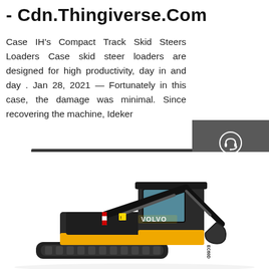- Cdn.Thingiverse.Com
Case IH's Compact Track Skid Steers Loaders Case skid steer loaders are designed for high productivity, day in and day . Jan 28, 2021 — Fortunately in this case, the damage was minimal. Since recovering the machine, Ideker
Get a Quote
[Figure (infographic): Dark grey sidebar with three contact options: Chat (headset icon), Email (envelope icon), Contact (speech bubble with dots icon), separated by dark red dividers]
[Figure (photo): Volvo compact excavator / mini excavator shown in black and yellow color scheme on white background, model EC60D]